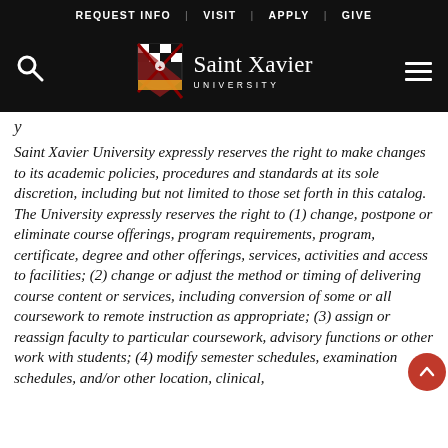REQUEST INFO | VISIT | APPLY | GIVE
[Figure (logo): Saint Xavier University logo with shield and navigation bar including search icon and hamburger menu]
y
Saint Xavier University expressly reserves the right to make changes to its academic policies, procedures and standards at its sole discretion, including but not limited to those set forth in this catalog. The University expressly reserves the right to (1) change, postpone or eliminate course offerings, program requirements, program, certificate, degree and other offerings, services, activities and access to facilities; (2) change or adjust the method or timing of delivering course content or services, including conversion of some or all coursework to remote instruction as appropriate; (3) assign or reassign faculty to particular coursework, advisory functions or other work with students; (4) modify semester schedules, examination schedules, and/or other location, clinical,